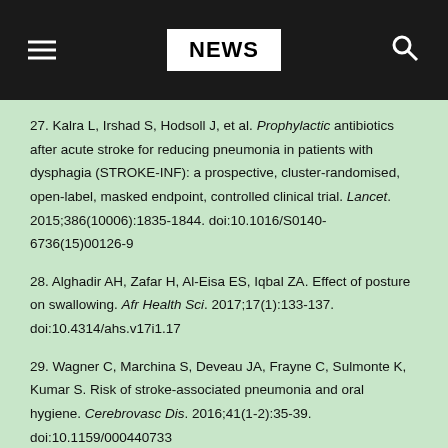NEWS
27. Kalra L, Irshad S, Hodsoll J, et al. Prophylactic antibiotics after acute stroke for reducing pneumonia in patients with dysphagia (STROKE-INF): a prospective, cluster-randomised, open-label, masked endpoint, controlled clinical trial. Lancet. 2015;386(10006):1835-1844. doi:10.1016/S0140-6736(15)00126-9
28. Alghadir AH, Zafar H, Al-Eisa ES, Iqbal ZA. Effect of posture on swallowing. Afr Health Sci. 2017;17(1):133-137. doi:10.4314/ahs.v17i1.17
29. Wagner C, Marchina S, Deveau JA, Frayne C, Sulmonte K, Kumar S. Risk of stroke-associated pneumonia and oral hygiene. Cerebrovasc Dis. 2016;41(1-2):35-39. doi:10.1159/000440733